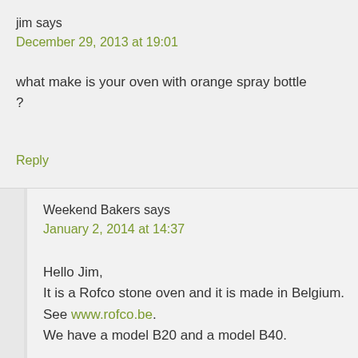jim says
December 29, 2013 at 19:01
what make is your oven with orange spray bottle ?
Reply
Weekend Bakers says
January 2, 2014 at 14:37
Hello Jim,
It is a Rofco stone oven and it is made in Belgium. See www.rofco.be.
We have a model B20 and a model B40.